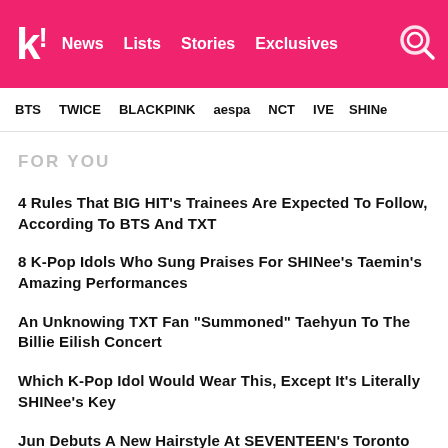k! News Lists Stories Exclusives
BTS   TWICE   BLACKPINK   aespa   NCT   IVE   SHINe
FOR YOU
4 Rules That BIG HIT's Trainees Are Expected To Follow, According To BTS And TXT
8 K-Pop Idols Who Sung Praises For SHINee's Taemin's Amazing Performances
An Unknowing TXT Fan "Summoned" Taehyun To The Billie Eilish Concert
Which K-Pop Idol Would Wear This, Except It's Literally SHINee's Key
Jun Debuts A New Hairstyle At SEVENTEEN's Toronto Concert And Fans Are Living For It